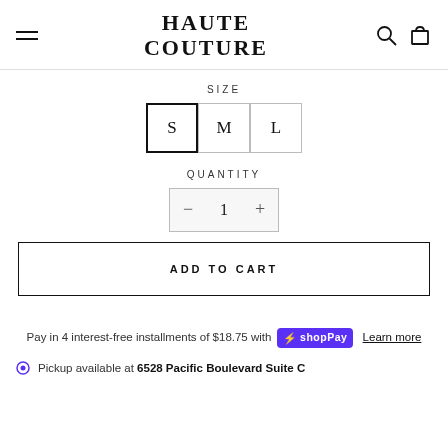HAUTE COUTURE
SIZE
S  M  L
QUANTITY
− 1 +
ADD TO CART
Pay in 4 interest-free installments of $18.75 with shop Pay  Learn more
Pickup available at 6528 Pacific Boulevard Suite C